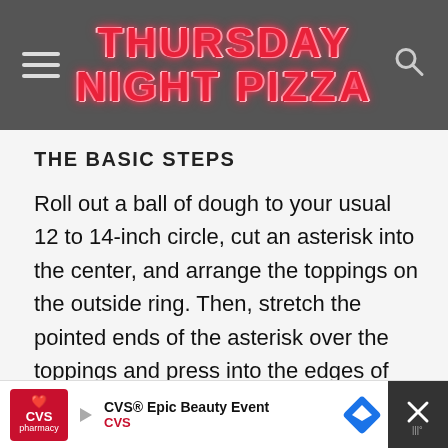THURSDAY NIGHT PIZZA
THE BASIC STEPS
Roll out a ball of dough to your usual 12 to 14-inch circle, cut an asterisk into the center, and arrange the toppings on the outside ring. Then, stretch the pointed ends of the asterisk over the toppings and press into the edges of dough to seal. Brush with olive oil and bake at 450°F for 15 minutes or until the crust is golden brown and the cheese is…
[Figure (screenshot): CVS Epic Beauty Event advertisement banner at bottom of page]